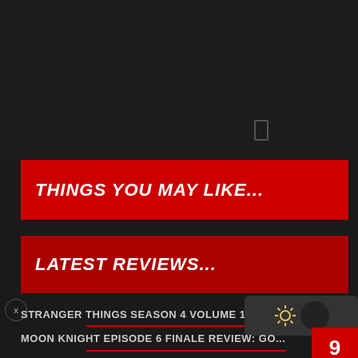[Figure (screenshot): Dark background top section of a website/app UI with a phone icon]
THINGS YOU MAY LIKE...
LATEST REVIEWS...
STRANGER THINGS SEASON 4 VOLUME 1 R...
MOON KNIGHT EPISODE 6 FINALE REVIEW: GO...